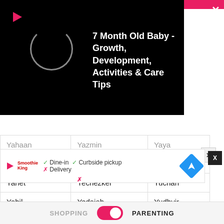[Figure (screenshot): Video overlay on black background showing loading spinner and title '7 Month Old Baby - Growth, Development, Activities & Care Tips']
| Yaheli | Yeam | Ysaiah |
| Yahet | Yechezkel | Yuchan |
| Yahil | Yedaiah | Yudhvir |
| Yahiness | Yedidya | Yudi |
| Yah'lr | Yeej | Yuel |
| Yahircito | Yefri | Yuen |
| Yahiyan | Yehan | Yuet |
| Yahli |  |  |
| Yah'M |  |  |
[Figure (screenshot): Ad overlay showing Smoothie King restaurant with dine-in, curbside pickup, delivery options and navigation icon]
SHOPPING  PARENTING